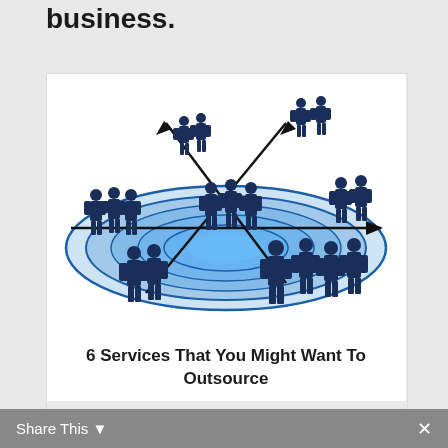business.
[Figure (illustration): Silhouettes of business people standing around a blue concentric circles target/radar graphic, with crossing black arrows pointing inward from four corners, suggesting networking or outsourcing concept]
6 Services That You Might Want To Outsource
Share This ×